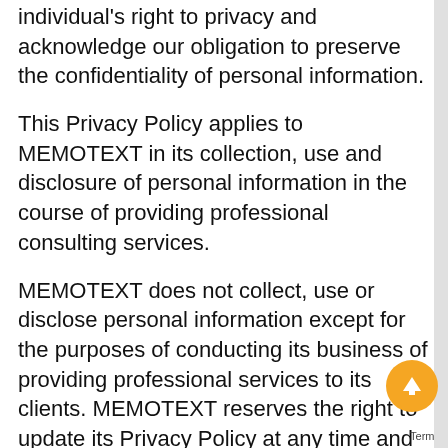individual's right to privacy and acknowledge our obligation to preserve the confidentiality of personal information.
This Privacy Policy applies to MEMOTEXT in its collection, use and disclosure of personal information in the course of providing professional consulting services.
MEMOTEXT does not collect, use or disclose personal information except for the purposes of conducting its business of providing professional services to its clients. MEMOTEXT reserves the right to update its Privacy Policy at any time and such modifications shall be effective immediately unless otherwise stated.